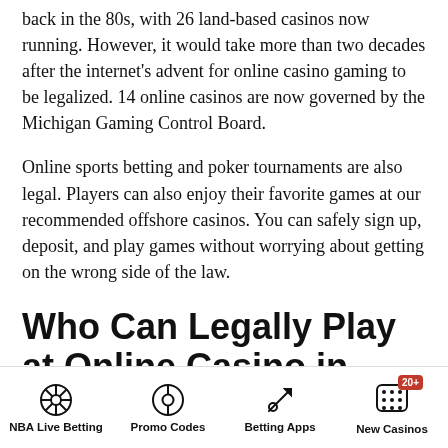back in the 80s, with 26 land-based casinos now running. However, it would take more than two decades after the internet's advent for online casino gaming to be legalized. 14 online casinos are now governed by the Michigan Gaming Control Board.
Online sports betting and poker tournaments are also legal. Players can also enjoy their favorite games at our recommended offshore casinos. You can safely sign up, deposit, and play games without worrying about getting on the wrong side of the law.
Who Can Legally Play at Online Casino in Michigan?
If you stay or are visiting the Great Lake State, you can
NBA Live Betting | Promo Codes | Betting Apps | New Casinos 20+